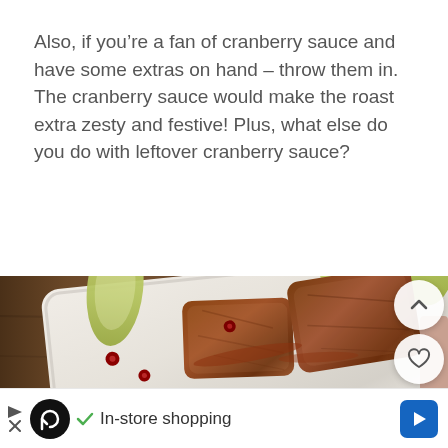Also, if you're a fan of cranberry sauce and have some extras on hand – throw them in. The cranberry sauce would make the roast extra zesty and festive! Plus, what else do you do with leftover cranberry sauce?
[Figure (photo): A roasted meat dish on a white plate with pear/apple slices and cranberries scattered, placed on a wooden table surface. UI overlay buttons visible: up arrow, heart, and teal search button on the right edge.]
✓ In-store shopping